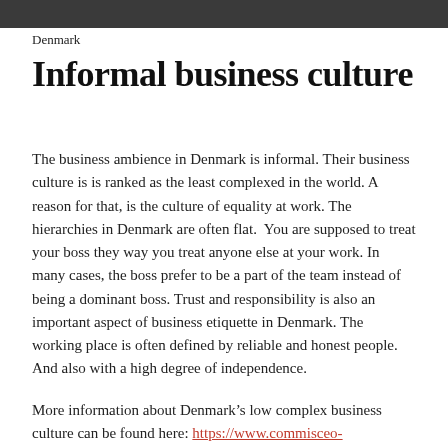Denmark
Informal business culture
The business ambience in Denmark is informal. Their business culture is is ranked as the least complexed in the world. A reason for that, is the culture of equality at work. The hierarchies in Denmark are often flat.  You are supposed to treat your boss they way you treat anyone else at your work. In many cases, the boss prefer to be a part of the team instead of being a dominant boss. Trust and responsibility is also an important aspect of business etiquette in Denmark. The working place is often defined by reliable and honest people. And also with a high degree of independence.
More information about Denmark’s low complex business culture can be found here: https://www.commisceo-